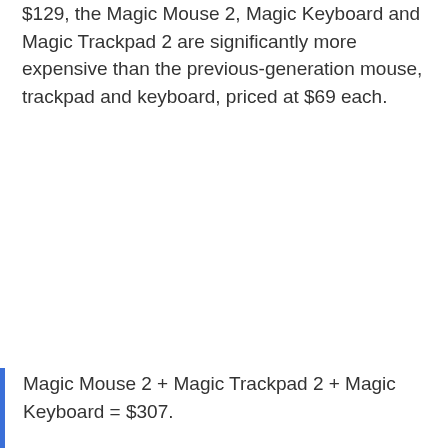$129, the Magic Mouse 2, Magic Keyboard and Magic Trackpad 2 are significantly more expensive than the previous-generation mouse, trackpad and keyboard, priced at $69 each.
Magic Mouse 2 + Magic Trackpad 2 + Magic Keyboard = $307.